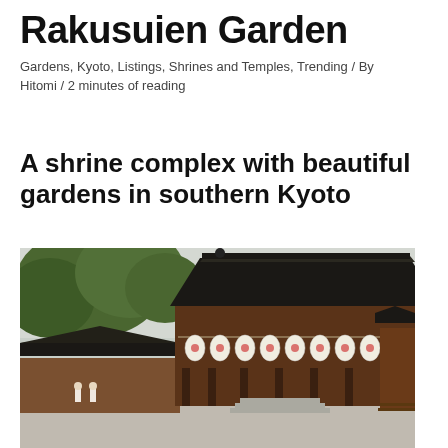Rakusuien Garden
Gardens, Kyoto, Listings, Shrines and Temples, Trending / By Hitomi / 2 minutes of reading
A shrine complex with beautiful gardens in southern Kyoto
[Figure (photo): A traditional Japanese shrine complex with large curved dark roofs, white paper lanterns hanging along the eaves, wooden architecture, and green trees in the background. Overcast sky.]